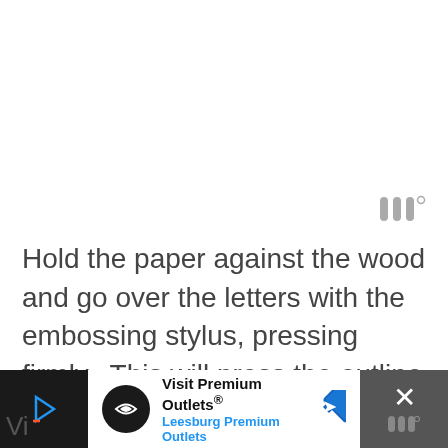[Figure (other): Small decorative icon resembling triple vertical bars with a degree symbol, in gray]
Hold the paper against the wood and go over the letters with the embossing stylus, pressing firmly.  This will press the outline of the letters into the wood without leaving a permanent mark.
[Figure (other): Advertisement banner for Visit Premium Outlets - Leesburg Premium Outlets, with logo, arrow navigation icon, and close button]